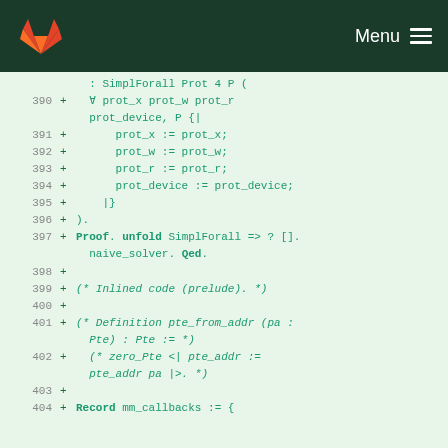GitLab — Menu
[Figure (screenshot): Code diff view showing lines 390-404 of a Coq proof file with green highlighted additions. Lines include SimplForall, prot_x, prot_w, prot_r, prot_device assignments, Proof/Qed block, comments about inlined code and Definition pte_from_addr, zero_Pte, and Record mm callbacks.]